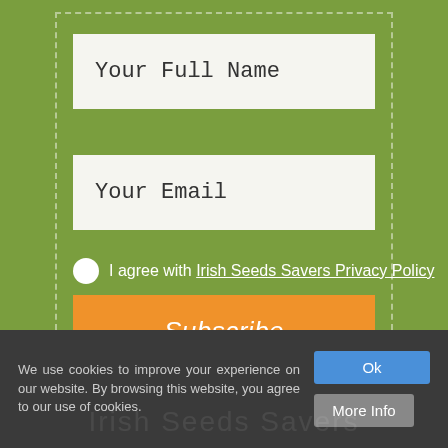Your Full Name
Your Email
I agree with Irish Seeds Savers Privacy Policy
Subscribe
We use cookies to improve your experience on our website. By browsing this website, you agree to our use of cookies.
Ok
More Info